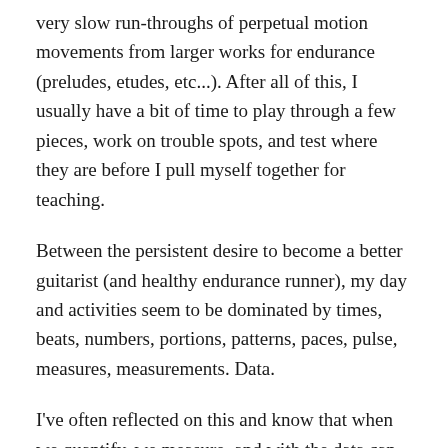very slow run-throughs of perpetual motion movements from larger works for endurance (preludes, etudes, etc...). After all of this, I usually have a bit of time to play through a few pieces, work on trouble spots, and test where they are before I pull myself together for teaching.
Between the persistent desire to become a better guitarist (and healthy endurance runner), my day and activities seem to be dominated by times, beats, numbers, portions, patterns, paces, pulse, measures, measurements. Data.
I've often reflected on this and know that when we quantify, we measure, and with the data can take action and make goals. But I also know that a piece of music needs to breathe, to wax and wane. Metronomes and